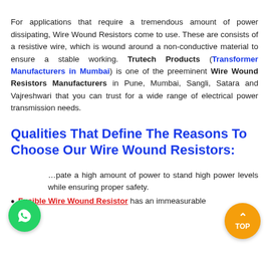For applications that require a tremendous amount of power dissipating, Wire Wound Resistors come to use. These are consists of a resistive wire, which is wound around a non-conductive material to ensure a stable working. Trutech Products (Transformer Manufacturers in Mumbai) is one of the preeminent Wire Wound Resistors Manufacturers in Pune, Mumbai, Sangli, Satara and Vajreshwari that you can trust for a wide range of electrical power transmission needs.
Qualities That Define The Reasons To Choose Our Wire Wound Resistors:
…pate a high amount of power to stand high power levels while ensuring proper safety.
Fusible Wire Wound Resistor has an immeasurable…